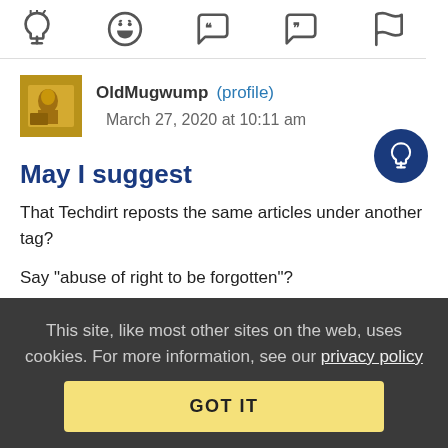[Figure (screenshot): Toolbar with icons: lightbulb, laughing emoji, open-quote speech bubble, close-quote speech bubble, flag]
OldMugwump (profile)   March 27, 2020 at 10:11 am
[Figure (other): Dark blue circular insight/lightbulb button on the right side]
May I suggest
That Techdirt reposts the same articles under another tag?
Say "abuse of right to be forgotten"?
This site, like most other sites on the web, uses cookies. For more information, see our privacy policy
GOT IT